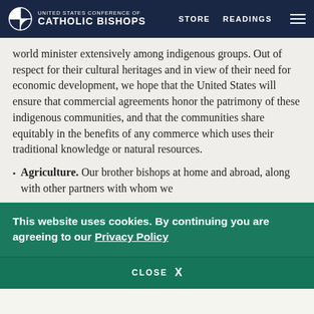UNITED STATES CONFERENCE OF CATHOLIC BISHOPS | STORE | READINGS
world minister extensively among indigenous groups. Out of respect for their cultural heritages and in view of their need for economic development, we hope that the United States will ensure that commercial agreements honor the patrimony of these indigenous communities, and that the communities share equitably in the benefits of any commerce which uses their traditional knowledge or natural resources.
Agriculture. Our brother bishops at home and abroad, along with other partners with whom we
This website uses cookies. By continuing you are agreeing to our Privacy Policy
CLOSE X